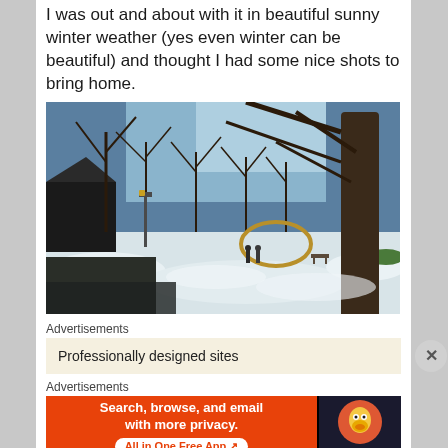I was out and about with it in beautiful sunny winter weather (yes even winter can be beautiful) and thought I had some nice shots to bring home.
[Figure (photo): A snowy park scene in winter sunshine. Bare trees silhouetted against a blue sky, snow on the ground, a large metal hoop sculpture, a lamppost, and people walking in the distance.]
Advertisements
Professionally designed sites
Advertisements
[Figure (screenshot): DuckDuckGo advertisement: 'Search, browse, and email with more privacy. All in One Free App' on orange background with DuckDuckGo logo on dark background.]